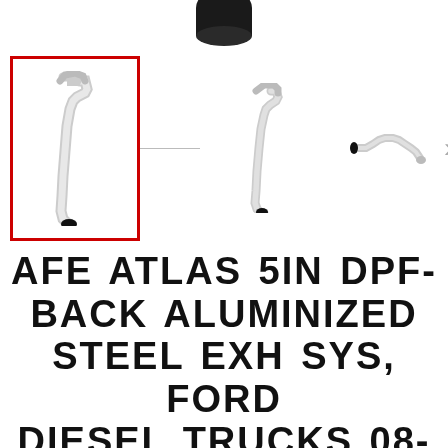[Figure (photo): Partial view of a black exhaust tip cut off at the top of the page]
[Figure (photo): Three thumbnail views of an exhaust system pipe/bend component. First thumbnail is selected with a red border. Second thumbnail shows a similar pipe view. Third thumbnail shows a full straight pipe. A right arrow navigation indicator is visible on the right.]
AFE ATLAS 5IN DPF-BACK ALUMINIZED STEEL EXH SYS, FORD DIESEL TRUCKS 08-10 V8-6.4L (TD) NO TIP